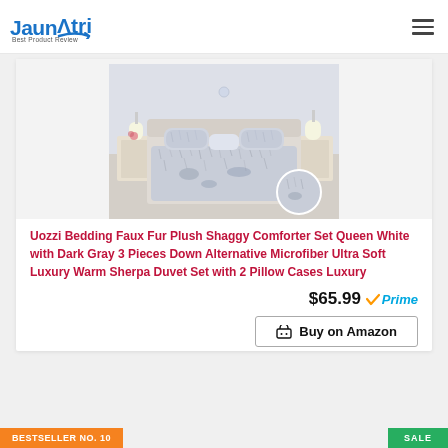Jaunatri – Best Product Review
[Figure (photo): Product photo of a fluffy faux fur plush shaggy comforter set in white/gray on a bed with pillows in an elegant bedroom setting]
Uozzi Bedding Faux Fur Plush Shaggy Comforter Set Queen White with Dark Gray 3 Pieces Down Alternative Microfiber Ultra Soft Luxury Warm Sherpa Duvet Set with 2 Pillow Cases Luxury
$65.99 Prime
Buy on Amazon
BESTSELLER NO. 10
SALE